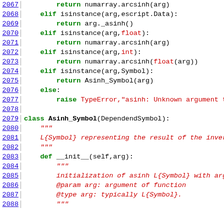Source code listing lines 2067-2088 showing Python code for asinh function and Asinh_Symbol class
2067:         return numarray.arcsinh(arg)
2068:     elif isinstance(arg,escript.Data):
2069:         return arg._asinh()
2070:     elif isinstance(arg,float):
2071:         return numarray.arcsinh(arg)
2072:     elif isinstance(arg,int):
2073:         return numarray.arcsinh(float(arg))
2074:     elif isinstance(arg,Symbol):
2075:         return Asinh_Symbol(arg)
2076:     else:
2077:         raise TypeError,"asinh: Unknown argument typ
2078:
2079: class Asinh_Symbol(DependendSymbol):
2080:     """
2081:     L{Symbol} representing the result of the invers
2082:     """
2083:     def __init__(self,arg):
2084:         """
2085:         initialization of asinh L{Symbol} with argum
2086:         @param arg: argument of function
2087:         @type arg: typically L{Symbol}.
2088:         """